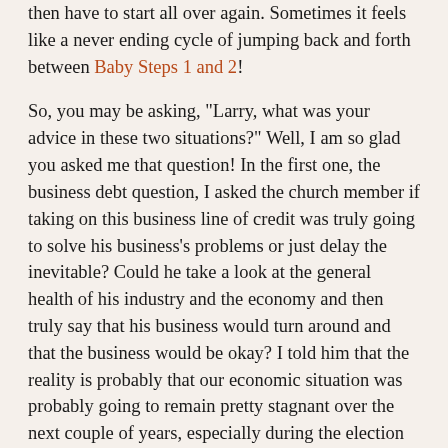then have to start all over again. Sometimes it feels like a never ending cycle of jumping back and forth between Baby Steps 1 and 2!
So, you may be asking, "Larry, what was your advice in these two situations?" Well, I am so glad you asked me that question! In the first one, the business debt question, I asked the church member if taking on this business line of credit was truly going to solve his business's problems or just delay the inevitable? Could he take a look at the general health of his industry and the economy and then truly say that his business would turn around and that the business would be okay? I told him that the reality is probably that our economic situation was probably going to remain pretty stagnant over the next couple of years, especially during the election cycle of 2012. Going into debt in order to keep his business afloat for a few months was probably not going to be the best choice. I closed out our phone call by encouraging him to check out the Entreleadership book by Dave Ramsey for business advice.
In the second situation, I encouraged this family of five via email to consider a different path than going into additional debt. First, I asked them to pray like crazy for God to provide for their need of a reliable vehicle in order to haul their family around. DEBT FREE!